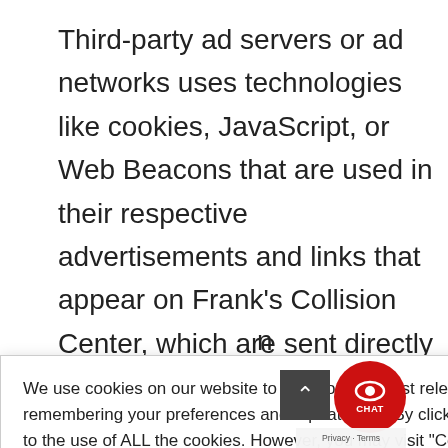Third-party ad servers or ad networks uses technologies like cookies, JavaScript, or Web Beacons that are used in their respective advertisements and links that appear on Frank's Collision Center, which are sent directly to users' [browser. They automatically receive] our IP [address when this occurs. These tech]nologies are [used to measure the effectiveness of] their [advertising campaigns and/or to per]sonalize the [advertising content that you see on w]ebsites that [you visit.] [n...] used by
We use cookies on our website to give you the most relevant experience by remembering your preferences and repeat visits. By clicking “Accept All”, you consent to the use of ALL the cookies. However, you may visit "Cookie Settings" to provide a controlled consent.